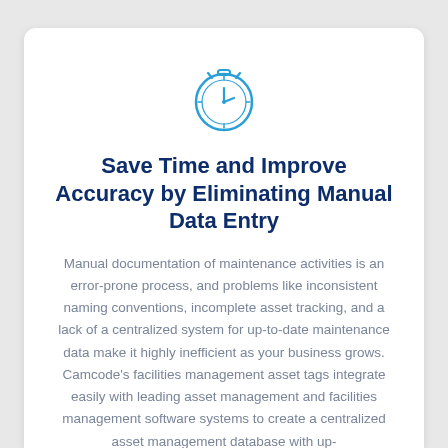[Figure (illustration): A stopwatch / clock icon drawn in blue outline style, circular face with clock hands and a small crown/button on top.]
Save Time and Improve Accuracy by Eliminating Manual Data Entry
Manual documentation of maintenance activities is an error-prone process, and problems like inconsistent naming conventions, incomplete asset tracking, and a lack of a centralized system for up-to-date maintenance data make it highly inefficient as your business grows. Camcode's facilities management asset tags integrate easily with leading asset management and facilities management software systems to create a centralized asset management database with up-